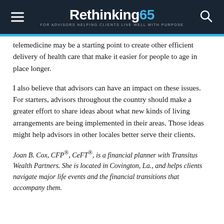Rethinking65 — FOR ADVISORS HELPING CLIENTS LIVE WELL WITH PURPOSE
telemedicine may be a starting point to create other efficient delivery of health care that make it easier for people to age in place longer.
I also believe that advisors can have an impact on these issues. For starters, advisors throughout the country should make a greater effort to share ideas about what new kinds of living arrangements are being implemented in their areas. Those ideas might help advisors in other locales better serve their clients.
Joan B. Cox, CFP®, CeFT®, is a financial planner with Transitus Wealth Partners. She is located in Covington, La., and helps clients navigate major life events and the financial transitions that accompany them.